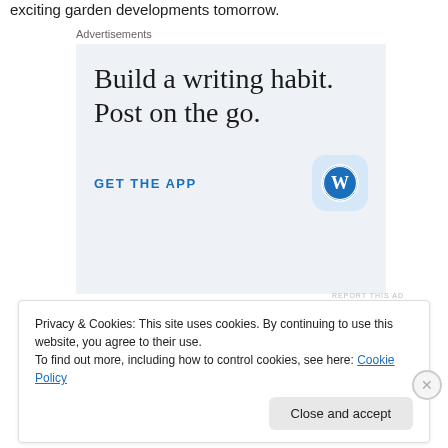exciting garden developments tomorrow.
Advertisements
[Figure (illustration): WordPress app advertisement. Large serif text reads 'Build a writing habit. Post on the go.' with a blue 'GET THE APP' call-to-action link and a WordPress logo icon on the right.]
Privacy & Cookies: This site uses cookies. By continuing to use this website, you agree to their use.
To find out more, including how to control cookies, see here: Cookie Policy
Close and accept